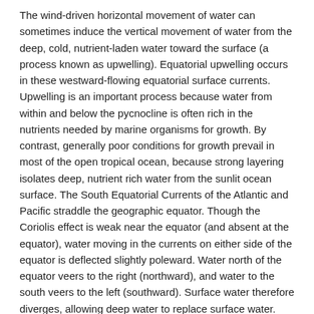The wind-driven horizontal movement of water can sometimes induce the vertical movement of water from the deep, cold, nutrient-laden water toward the surface (a process known as upwelling). Equatorial upwelling occurs in these westward-flowing equatorial surface currents. Upwelling is an important process because water from within and below the pycnocline is often rich in the nutrients needed by marine organisms for growth. By contrast, generally poor conditions for growth prevail in most of the open tropical ocean, because strong layering isolates deep, nutrient rich water from the sunlit ocean surface. The South Equatorial Currents of the Atlantic and Pacific straddle the geographic equator. Though the Coriolis effect is weak near the equator (and absent at the equator), water moving in the currents on either side of the equator is deflected slightly poleward. Water north of the equator veers to the right (northward), and water to the south veers to the left (southward). Surface water therefore diverges, allowing deep water to replace surface water. Most of the upwelled water comes from the area above the equatorial undercurrent, at depths of 100 meters or less.
Langmuir circulation